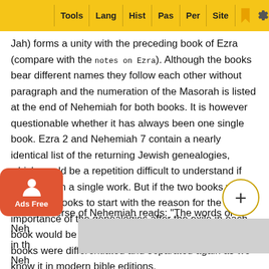Tools | Lang | Hist | Pas | Per | Site
Jah) forms a unity with the preceding book of Ezra (compare with the notes on Ezra). Although the books bear different names they follow each other without paragraph and the numeration of the Masorah is listed at the end of Nehemiah for both books. It is however questionable whether it has always been one single book. Ezra 2 and Nehemiah 7 contain a nearly identical list of the returning Jewish genealogies, which would be a repetition difficult to understand if contained in a single work. But if the two books were individual books to start with the reason for the importance of the genealogies after the exile in each book would be a very good explanation. Later the books were differentiated and separated again as we know it in modern bible editions.
The first verse of Nehemiah reads: "The words of Nehemiah... mostly in th... 1; Neh...